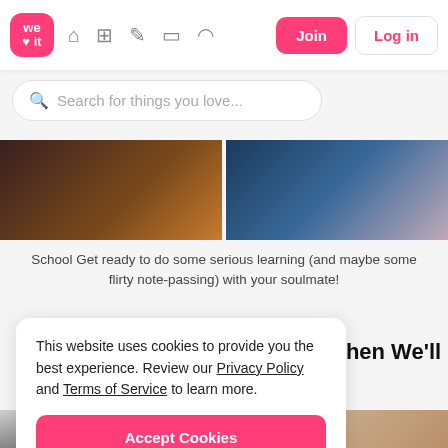We Heart It navigation bar with logo, home, grid, pen, card, headphone icons, Join and Log in buttons
Search for things you love...
Upgrade
[Figure (photo): Two partial photos side by side: left shows warm tones with orange/brown, right shows blue/purple tones]
School Get ready to do some serious learning (and maybe some flirty note-passing) with your soulmate!
This website uses cookies to provide you the best experience. Review our Privacy Policy and Terms of Service to learn more.
Accept Cookies
Only users 16 years or older may use We Heart It.
s, Then We'll
[Figure (photo): Two partial photos at bottom: left shows grayscale/monochrome scene, right shows person in white lace top]